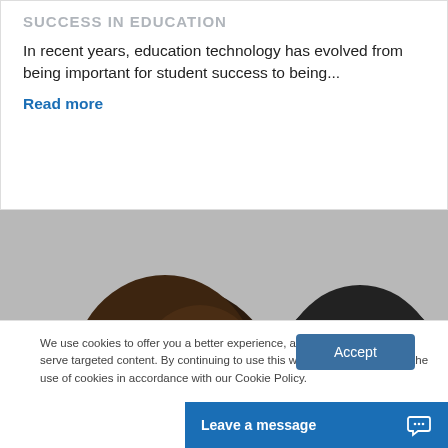SUCCESS IN EDUCATION
In recent years, education technology has evolved from being important for student success to being...
Read more
[Figure (photo): Two people seen from behind/above, showing tops of their heads against a gray background.]
We use cookies to offer you a better experience, analyze site traffic, and serve targeted content. By continuing to use this website, you consent to the use of cookies in accordance with our Cookie Policy.
Accept
Leave a message